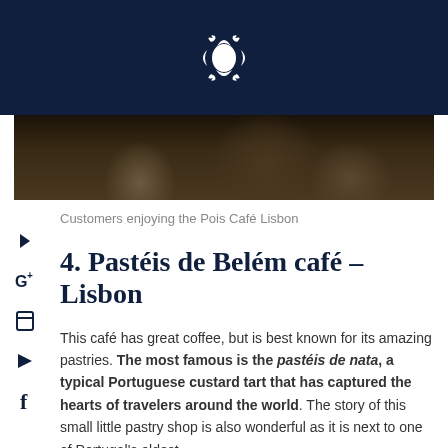[Logo]
[Figure (photo): Customers sitting inside a café, dimly lit interior with people visible]
Customers enjoying the Pois Café Lisbon
4. Pastéis de Belém café – Lisbon
This café has great coffee, but is best known for its amazing pastries. The most famous is the pastéis de nata, a typical Portuguese custard tart that has captured the hearts of travelers around the world. The story of this small little pastry shop is also wonderful as it is next to one of Portugal's oldest